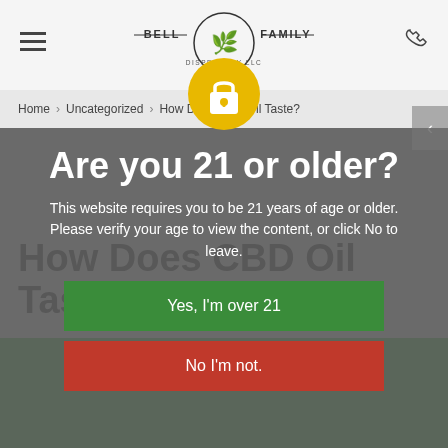[Figure (logo): Bell Family Dispensary logo with cannabis leaf in circular emblem, text BELL FAMILY with horizontal lines on sides, DISPENSARY LLC below]
Home > Uncategorized > How Does CBD Oil Taste?
[Figure (illustration): Golden circular badge with white padlock icon representing age verification gate]
Are you 21 or older?
This website requires you to be 21 years of age or older. Please verify your age to view the content, or click No to leave.
How Does CBD Oil Taste?
November 16, 2018
Yes, I'm over 21
No I'm not.